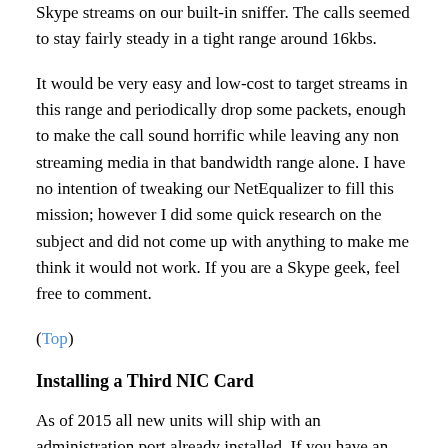Skype streams on our built-in sniffer. The calls seemed to stay fairly steady in a tight range around 16kbs.
It would be very easy and low-cost to target streams in this range and periodically drop some packets, enough to make the call sound horrific while leaving any non streaming media in that bandwidth range alone. I have no intention of tweaking our NetEqualizer to fill this mission; however I did some quick research on the subject and did not come up with anything to make me think it would not work. If you are a Skype geek, feel free to comment.
(Top)
Installing a Third NIC Card
As of 2015 all new units will ship with an administration port already installed. If you have an older unit and need